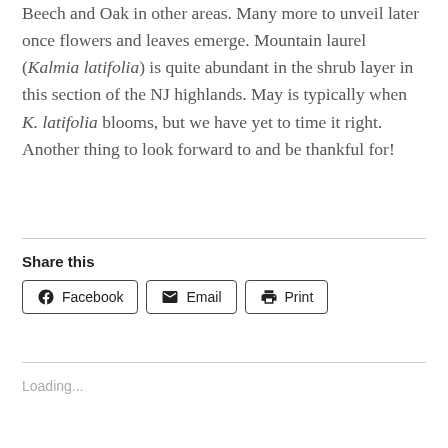Beech and Oak in other areas. Many more to unveil later once flowers and leaves emerge. Mountain laurel (Kalmia latifolia) is quite abundant in the shrub layer in this section of the NJ highlands. May is typically when K. latifolia blooms, but we have yet to time it right. Another thing to look forward to and be thankful for!
Share this
Facebook | Email | Print
Loading...